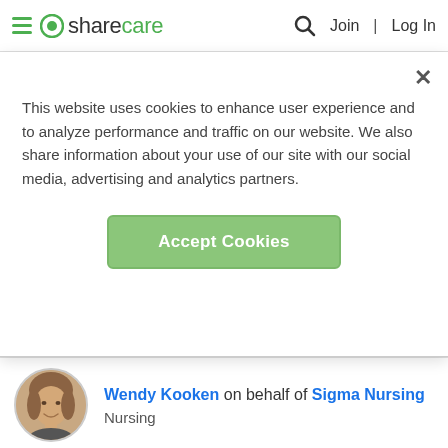sharecare — Join | Log In
This website uses cookies to enhance user experience and to analyze performance and traffic on our website. We also share information about your use of our site with our social media, advertising and analytics partners.
Accept Cookies
Wendy Kooken on behalf of Sigma Nursing
Nursing
This is an interesting question; the answer depends on who you are as a person. The word nurture means to nourish or is about training and upbringing (http://www.merriam-webster.com/dictionary/nurture), the...